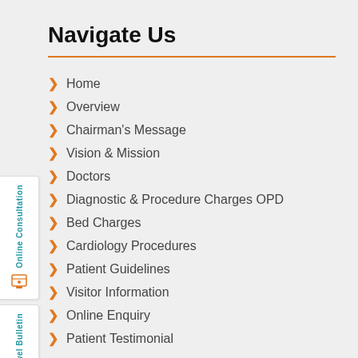Navigate Us
Home
Overview
Chairman's Message
Vision & Mission
Doctors
Diagnostic & Procedure Charges OPD
Bed Charges
Cardiology Procedures
Patient Guidelines
Visitor Information
Online Enquiry
Patient Testimonial